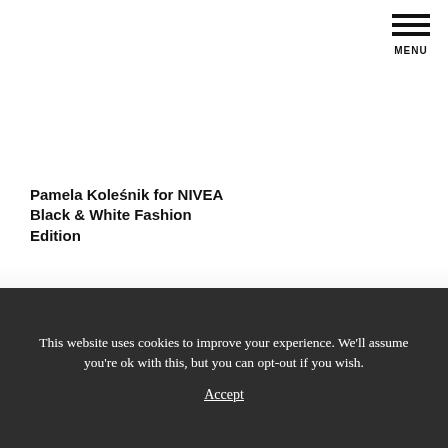MENU
Pamela Koleśnik for NIVEA Black & White Fashion Edition
This website uses cookies to improve your experience. We'll assume you're ok with this, but you can opt-out if you wish.
Accept